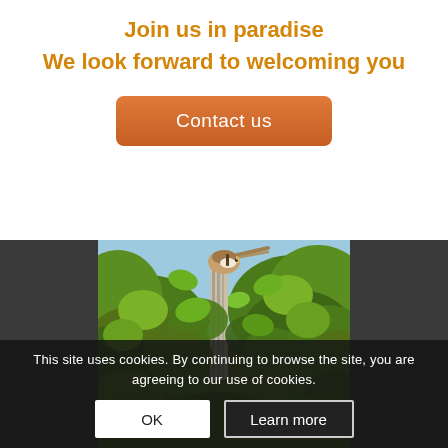Join us in paradise
We look forward to welcoming you
Contact us
[Figure (photo): A heron bird standing tall among green leaves and tree branches against a light blue sky, viewed from below.]
This site uses cookies. By continuing to browse the site, you are agreeing to our use of cookies.
OK
Learn more